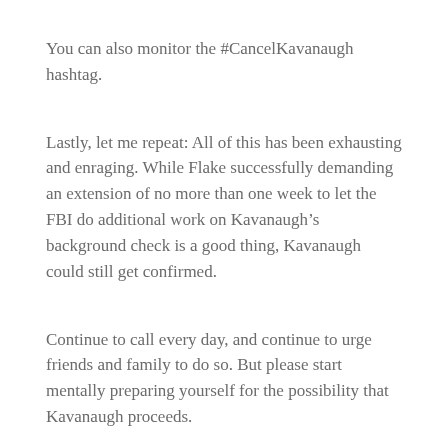You can also monitor the #CancelKavanaugh hashtag.
Lastly, let me repeat: All of this has been exhausting and enraging. While Flake successfully demanding an extension of no more than one week to let the FBI do additional work on Kavanaugh’s background check is a good thing, Kavanaugh could still get confirmed.
Continue to call every day, and continue to urge friends and family to do so. But please start mentally preparing yourself for the possibility that Kavanaugh proceeds.